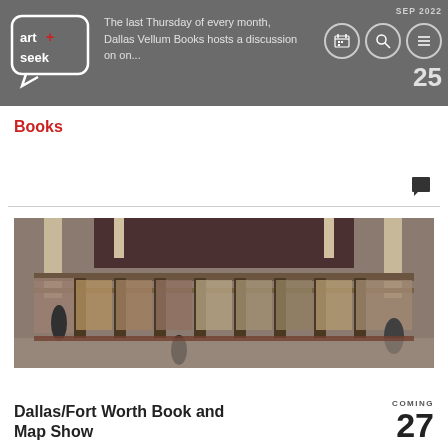The last Thursday of every month, Dallas Vellum Books hosts a discussion on...
Books
[Figure (photo): Aerial view of a busy book fair or used book sale inside a large hall, with many rows of book shelves, tables and people browsing.]
Dallas/Fort Worth Book and Map Show
COMING 27